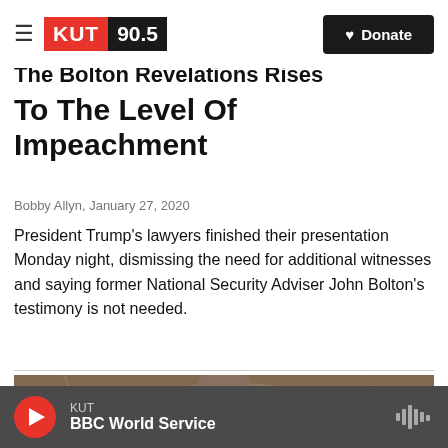KUT 90.5 | Donate
The Bolton Revelations Rises To The Level Of Impeachment
Bobby Allyn, January 27, 2020
President Trump's lawyers finished their presentation Monday night, dismissing the need for additional witnesses and saying former National Security Adviser John Bolton's testimony is not needed.
[Figure (photo): A man in a dark suit speaking at a podium in front of a marble background, likely a Senate chamber setting.]
KUT | BBC World Service